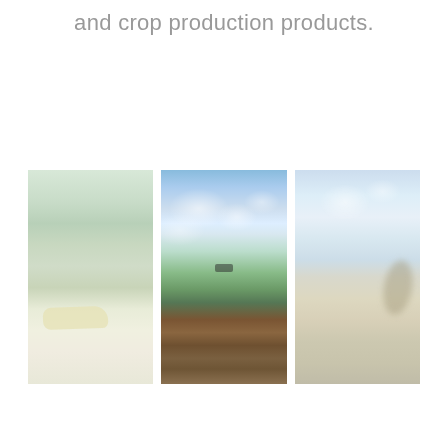and crop production products.
[Figure (photo): Three side-by-side photos: left shows a blurry agricultural aircraft (crop duster) close-up over a pale green field/water; center shows a farm field with green crops, brown soil/mud in foreground, a vehicle/applicator in the background, and blue sky with clouds above; right shows a blurry close-up of an aircraft propeller with sandy/dusty ground and cloudy sky.]